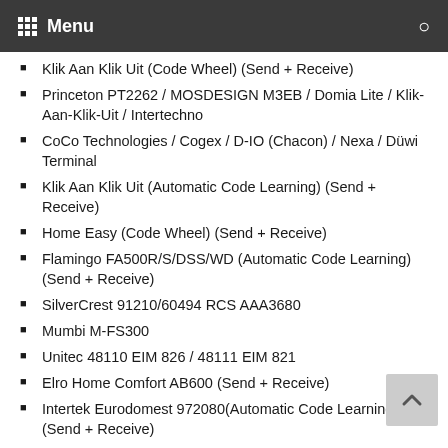Menu
Klik Aan Klik Uit (Code Wheel) (Send + Receive)
Princeton PT2262 / MOSDESIGN M3EB / Domia Lite / Klik-Aan-Klik-Uit / Intertechno
CoCo Technologies / Cogex / D-IO (Chacon) / Nexa / Düwi Terminal
Klik Aan Klik Uit (Automatic Code Learning) (Send + Receive)
Home Easy (Code Wheel) (Send + Receive)
Flamingo FA500R/S/DSS/WD (Automatic Code Learning) (Send + Receive)
SilverCrest 91210/60494 RCS AAA3680
Mumbi M-FS300
Unitec 48110 EIM 826 / 48111 EIM 821
Elro Home Comfort AB600 (Send + Receive)
Intertek Eurodomest 972080(Automatic Code Learning) (Send + Receive)
Blyss (Send + Receive)
Conrad RSL2 (Receive only)